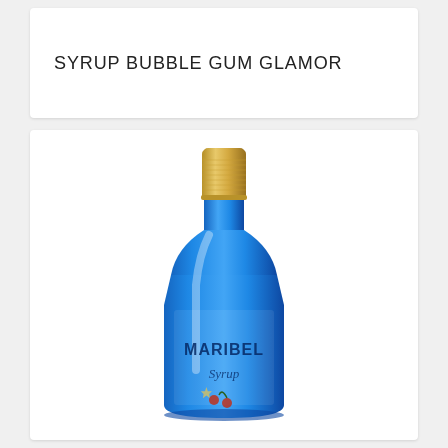SYRUP BUBBLE GUM GLAMOR
[Figure (photo): A blue metallic bottle of Maribel Syrup Bubble Gum Glamor with a gold cap, partially visible label reading 'MARIBEL' and 'Syrup' with decorative elements including stars and cherries.]